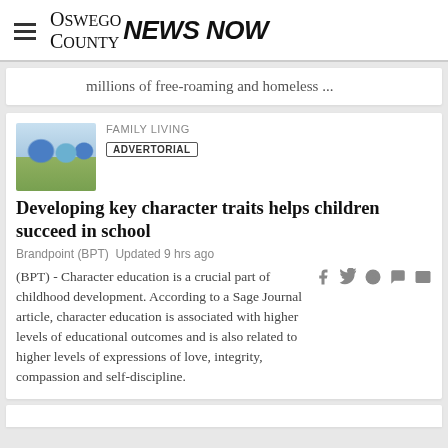Oswego County NEWS NOW
millions of free-roaming and homeless ...
FAMILY LIVING
ADVERTORIAL
Developing key character traits helps children succeed in school
Brandpoint (BPT)  Updated 9 hrs ago
(BPT) - Character education is a crucial part of childhood development. According to a Sage Journal article, character education is associated with higher levels of educational outcomes and is also related to higher levels of expressions of love, integrity, compassion and self-discipline.